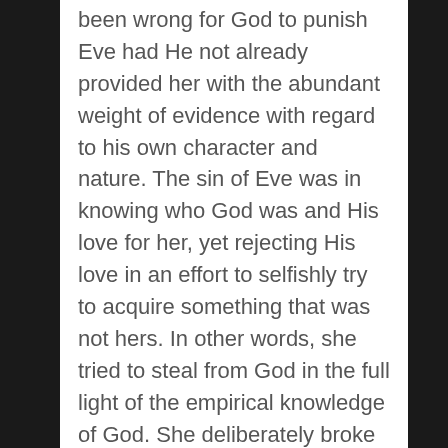been wrong for God to punish Eve had He not already provided her with the abundant weight of evidence with regard to his own character and nature. The sin of Eve was in knowing who God was and His love for her, yet rejecting His love in an effort to selfishly try to acquire something that was not hers. In other words, she tried to steal from God in the full light of the empirical knowledge of God. She deliberately broke the Royal Law of Love.
She could not plead innocence due to ignorance or she would